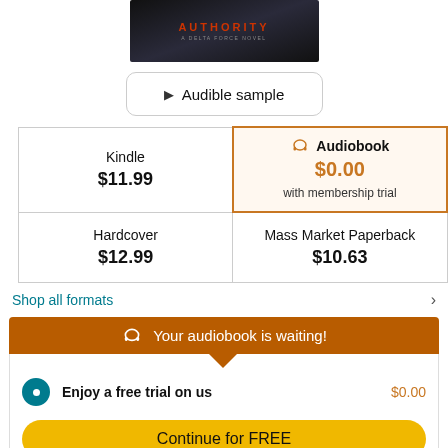[Figure (photo): Book cover for 'Authority: A Delta Force Novel' with dark background and red title text]
▶ Audible sample
| Kindle | Audiobook |
| --- | --- |
| $11.99 | $0.00 with membership trial |
| Hardcover $12.99 | Mass Market Paperback $10.63 |
Shop all formats
Your audiobook is waiting!
Enjoy a free trial on us $0.00
Continue for FREE